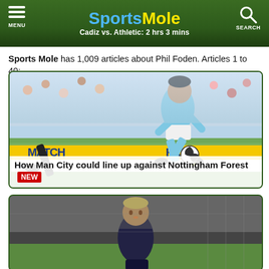Sports Mole — Cadiz vs. Athletic: 2 hrs 3 mins — MENU — SEARCH
Sports Mole has 1,009 articles about Phil Foden. Articles 1 to 40:
[Figure (photo): Football player in light blue Manchester City kit dribbling/kicking a ball with crowd in background and sponsor boards visible]
How Man City could line up against Nottingham Forest NEW
[Figure (photo): Blonde football player in dark kit, partial view, stadium background]